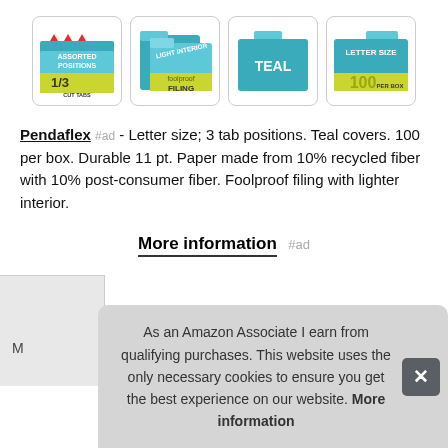[Figure (illustration): Four product feature images for Pendaflex file folders: 1/3 Cut Tabs Assorted Positions, Foolproof Filing with Light Interior, Teal color folders, 100 Per Box Letter Size]
Pendaflex #ad - Letter size; 3 tab positions. Teal covers. 100 per box. Durable 11 pt. Paper made from 10% recycled fiber with 10% post-consumer fiber. Foolproof filing with lighter interior.
More information #ad
As an Amazon Associate I earn from qualifying purchases. This website uses the only necessary cookies to ensure you get the best experience on our website. More information